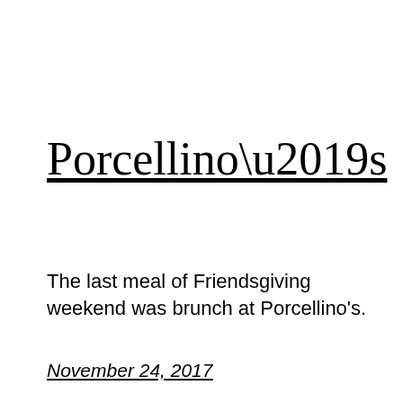Porcellino’s
The last meal of Friendsgiving weekend was brunch at Porcellino's.
November 24, 2017